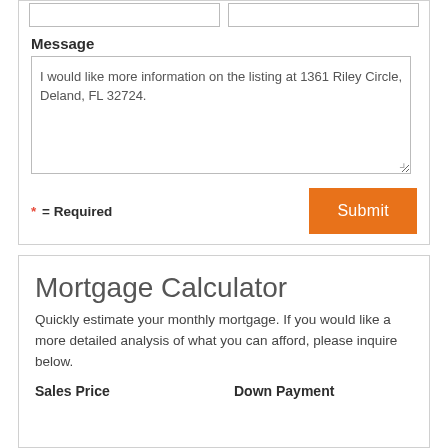Message
I would like more information on the listing at 1361 Riley Circle, Deland, FL 32724.
* = Required
Mortgage Calculator
Quickly estimate your monthly mortgage. If you would like a more detailed analysis of what you can afford, please inquire below.
Sales Price
Down Payment